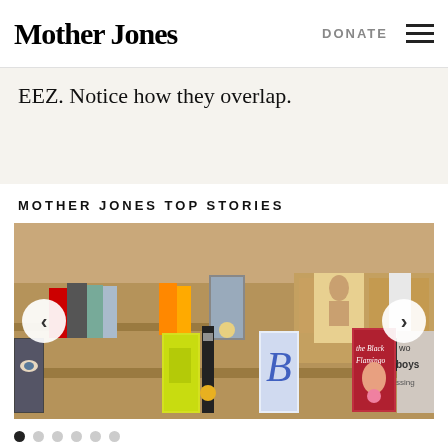Mother Jones | DONATE | (menu)
EEZ. Notice how they overlap.
MOTHER JONES TOP STORIES
[Figure (photo): A bookshelf display with multiple books including 'the Black Flamingo', 'Blood & Eye', 'The Hate U Give', and other titles. A carousel with left and right navigation arrows. Six dots at the bottom indicate multiple slides.]